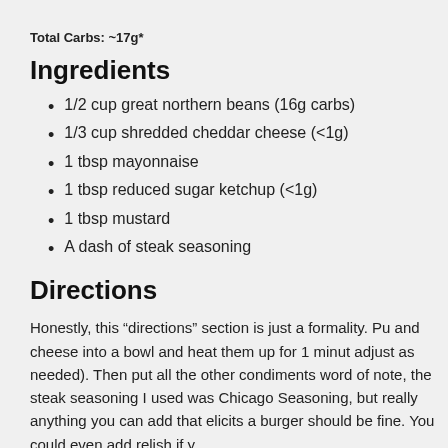Total Carbs: ~17g*
Ingredients
1/2 cup great northern beans (16g carbs)
1/3 cup shredded cheddar cheese (<1g)
1 tbsp mayonnaise
1 tbsp reduced sugar ketchup (<1g)
1 tbsp mustard
A dash of steak seasoning
Directions
Honestly, this “directions” section is just a formality. Pu and cheese into a bowl and heat them up for 1 minut adjust as needed). Then put all the other condiments word of note, the steak seasoning I used was Chicago Seasoning, but really anything you can add that elicits a burger should be fine. You could even add relish if y